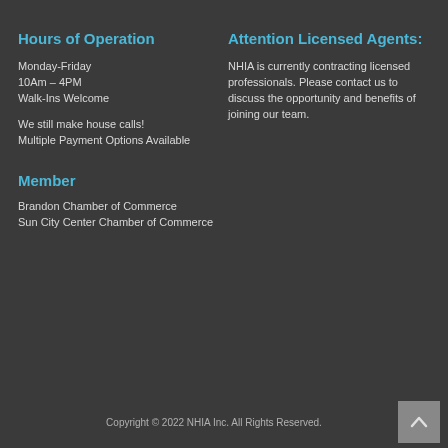Hours of Operation
Monday-Friday
10Am – 4PM
Walk-Ins Welcome
We still make house calls!
Multiple Payment Options Available
Member
Brandon Chamber of Commerce
Sun City Center Chamber of Commerce
Attention Licensed Agents:
NHIA is currently contracting licensed professionals. Please contact us to discuss the opportunity and benefits of joining our team.
Copyright © 2022 NHIA Inc. All Rights Reserved.